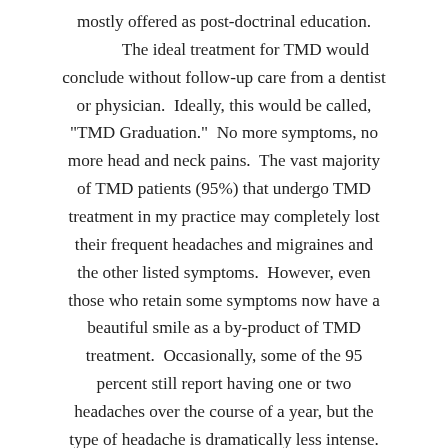mostly offered as post-doctrinal education. The ideal treatment for TMD would conclude without follow-up care from a dentist or physician. Ideally, this would be called, "TMD Graduation." No more symptoms, no more head and neck pains. The vast majority of TMD patients (95%) that undergo TMD treatment in my practice may completely lost their frequent headaches and migraines and the other listed symptoms. However, even those who retain some symptoms now have a beautiful smile as a by-product of TMD treatment. Occasionally, some of the 95 percent still report having one or two headaches over the course of a year, but the type of headache is dramatically less intense. There is HOPE!!!